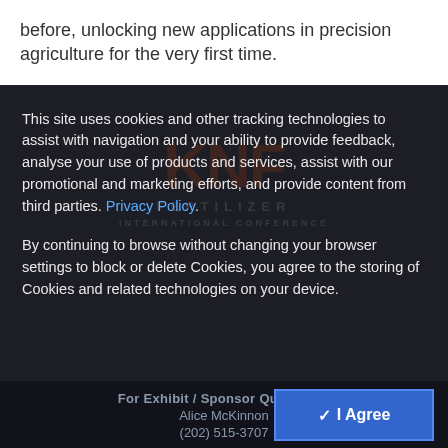before, unlocking new applications in precision agriculture for the very first time.
This site uses cookies and other tracking technologies to assist with navigation and your ability to provide feedback, analyse your use of products and services, assist with our promotional and marketing efforts, and provide content from third parties. Privacy Policy.
By continuing to browse without changing your browser settings to block or delete Cookies, you agree to the storing of Cookies and related technologies on your device.
For Exhibit / Sponsor Questions:
Alice McKinnon
(202) 515-3707